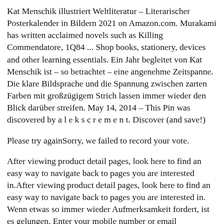Kat Menschik illustriert Weltliteratur – Literarischer Posterkalender in Bildern 2021 on Amazon.com. Murakami has written acclaimed novels such as Killing Commendatore, 1Q84 ... Shop books, stationery, devices and other learning essentials. Ein Jahr begleitet von Kat Menschik ist – so betrachtet – eine angenehme Zeitspanne. Die klare Bildsprache und die Spannung zwischen zarten Farben mit großzügigem Strich lassen immer wieder den Blick darüber streifen. May 14, 2014 – This Pin was discovered by a l e k s c r e m e n t. Discover (and save!)
Please try againSorry, we failed to record your vote.
After viewing product detail pages, look here to find an easy way to navigate back to pages you are interested in.After viewing product detail pages, look here to find an easy way to navigate back to pages you are interested in. Wenn etwas so immer wieder Aufmerksamkeit fordert, ist es gelungen. Enter your mobile number or email...